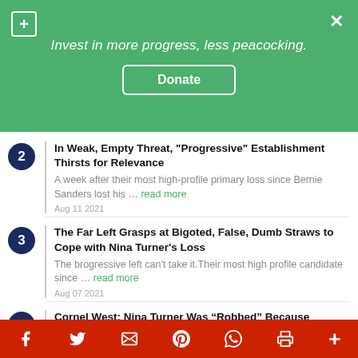Invest in more progress, less peacocking. Donate
2 In Weak, Empty Threat, "Progressive" Establishment Thirsts for Relevance — A week after their most high-profile primary loss since Bernie Sanders lost his ... read more — Aug 11 2021
3 The Far Left Grasps at Bigoted, False, Dumb Straws to Cope with Nina Turner's Loss — The brogressive left can't take it. Their most high profile candidate since ... read more — Aug 07 2021
4 Cornel West: Nina Turner Was “Robbed” Because Shontel Brown Won Too Many Absentee Ballots. Also, Jews. — I didn't expect it, but I should have. Nina Turner stan has found a new excuse ... read more
Facebook Twitter Email Pinterest WhatsApp Print More